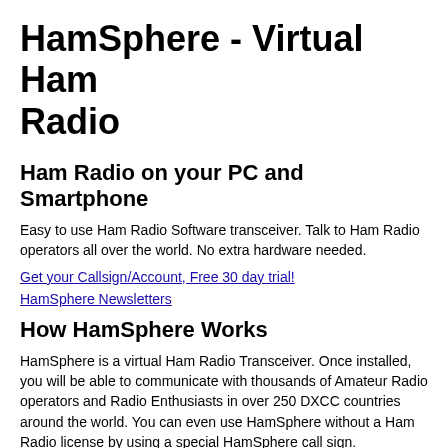HamSphere - Virtual Ham Radio
Ham Radio on your PC and Smartphone
Easy to use Ham Radio Software transceiver. Talk to Ham Radio operators all over the world. No extra hardware needed.
Get your Callsign/Account, Free 30 day trial!
HamSphere Newsletters
How HamSphere Works
HamSphere is a virtual Ham Radio Transceiver. Once installed, you will be able to communicate with thousands of Amateur Radio operators and Radio Enthusiasts in over 250 DXCC countries around the world. You can even use HamSphere without a Ham Radio license by using a special HamSphere call sign. HamSphere